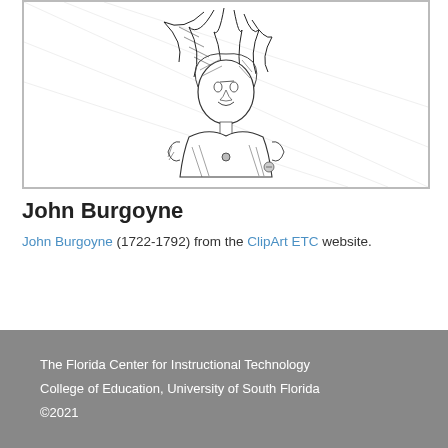[Figure (illustration): Black and white engraving/illustration of John Burgoyne, showing a portrait figure with feathered hat and period military attire, rendered in crosshatch style]
John Burgoyne
John Burgoyne (1722-1792) from the ClipArt ETC website.
The Florida Center for Instructional Technology
College of Education, University of South Florida
©2021